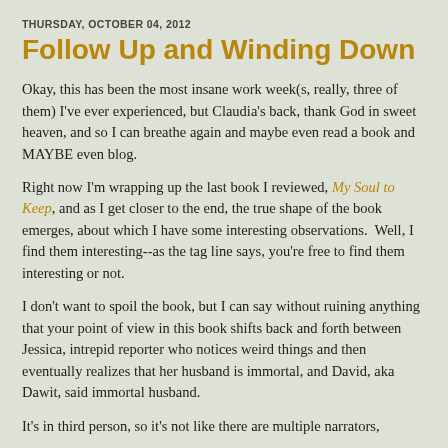THURSDAY, OCTOBER 04, 2012
Follow Up and Winding Down
Okay, this has been the most insane work week(s, really, three of them) I've ever experienced, but Claudia's back, thank God in sweet heaven, and so I can breathe again and maybe even read a book and MAYBE even blog.
Right now I'm wrapping up the last book I reviewed, My Soul to Keep, and as I get closer to the end, the true shape of the book emerges, about which I have some interesting observations.  Well, I find them interesting--as the tag line says, you're free to find them interesting or not.
I don't want to spoil the book, but I can say without ruining anything that your point of view in this book shifts back and forth between Jessica, intrepid reporter who notices weird things and then eventually realizes that her husband is immortal, and David, aka Dawit, said immortal husband.
It's in third person, so it's not like there are multiple narrators,